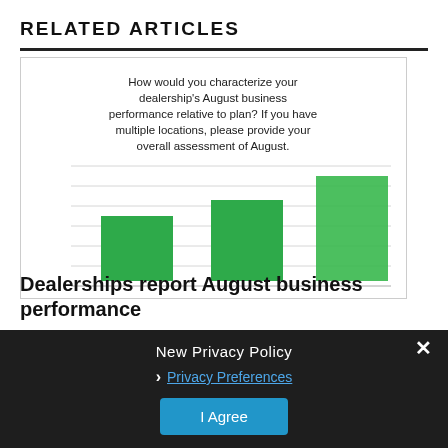RELATED ARTICLES
[Figure (bar-chart): How would you characterize your dealership's August business performance relative to plan? If you have multiple locations, please provide your overall assessment of August.]
Dealerships report August business performance
New Privacy Policy
Privacy Preferences
I Agree